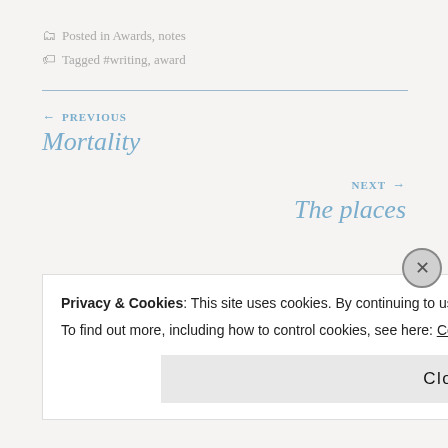Posted in Awards, notes
Tagged #writing, award
← PREVIOUS
Mortality
NEXT →
The places
Privacy & Cookies: This site uses cookies. By continuing to use this website, you agree to their use.
To find out more, including how to control cookies, see here: Cookie Policy
Close and accept